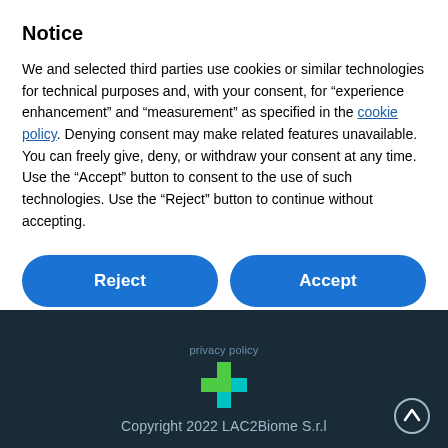Notice
We and selected third parties use cookies or similar technologies for technical purposes and, with your consent, for “experience enhancement” and “measurement” as specified in the cookie policy. Denying consent may make related features unavailable. You can freely give, deny, or withdraw your consent at any time. Use the “Accept” button to consent to the use of such technologies. Use the “Reject” button to continue without accepting.
Reject
Accept
Learn more and customise
Copyright 2022 LAC2Biome S.r.l